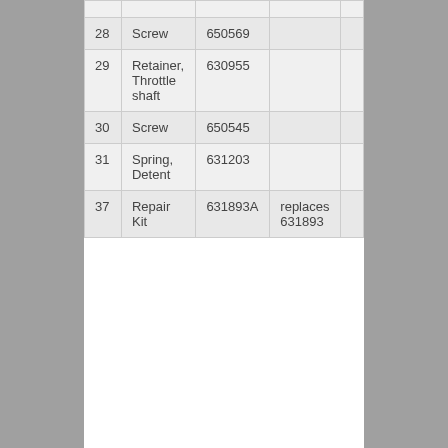| 28 | Screw | 650569 |  |  |
| 29 | Retainer, Throttle shaft | 630955 |  |  |
| 30 | Screw | 650545 |  |  |
| 31 | Spring, Detent | 631203 |  |  |
| 37 | Repair Kit | 631893A | replaces 631893 |  |